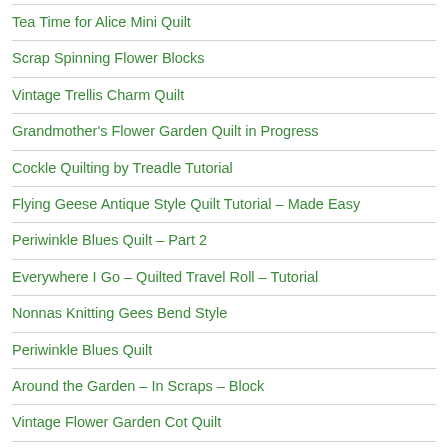Tea Time for Alice Mini Quilt
Scrap Spinning Flower Blocks
Vintage Trellis Charm Quilt
Grandmother's Flower Garden Quilt in Progress
Cockle Quilting by Treadle Tutorial
Flying Geese Antique Style Quilt Tutorial – Made Easy
Periwinkle Blues Quilt – Part 2
Everywhere I Go – Quilted Travel Roll – Tutorial
Nonnas Knitting Gees Bend Style
Periwinkle Blues Quilt
Around the Garden – In Scraps – Block
Vintage Flower Garden Cot Quilt